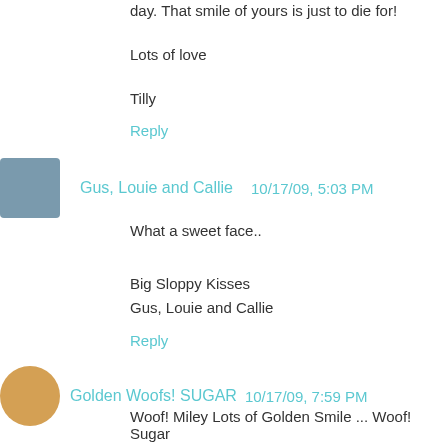day. That smile of yours is just to die for!
Lots of love
Tilly
Reply
Gus, Louie and Callie  10/17/09, 5:03 PM
What a sweet face..
Big Sloppy Kisses
Gus, Louie and Callie
Reply
Golden Woofs! SUGAR  10/17/09, 7:59 PM
Woof! Miley Lots of Golden Smile ... Woof! Sugar
Reply